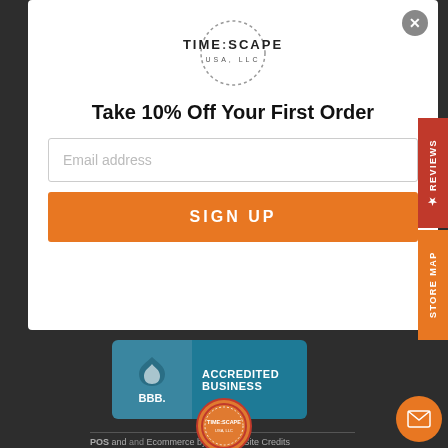[Figure (logo): TIME:SCAPE USA LLC circular logo with dotted border]
Take 10% Off Your First Order
Email address
SIGN UP
★ REVIEWS
STORE MAP
[Figure (logo): BBB Accredited Business badge in teal]
POS and Ecommerce by Shopify. Site Credits
[Figure (logo): TimeScape circular logo in footer]
[Figure (logo): Payment icons: PayPal, Visa, Mastercard, American Express]